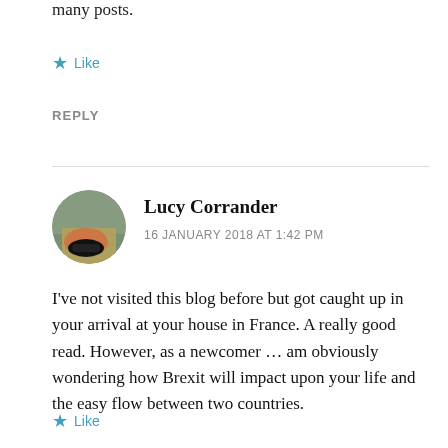many posts.
★ Like
REPLY
Lucy Corrander
16 JANUARY 2018 AT 1:42 PM
I've not visited this blog before but got caught up in your arrival at your house in France. A really good read. However, as a newcomer … am obviously wondering how Brexit will impact upon your life and the easy flow between two countries.
★ Like